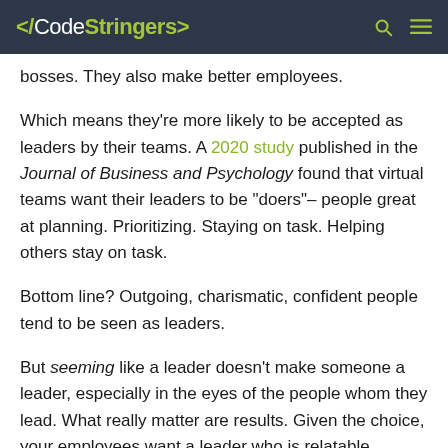</CodeStringers>
bosses. They also make better employees.
Which means they're more likely to be accepted as leaders by their teams. A 2020 study published in the Journal of Business and Psychology found that virtual teams want their leaders to be “doers”– people great at planning. Prioritizing. Staying on task. Helping others stay on task.
Bottom line? Outgoing, charismatic, confident people tend to be seen as leaders.
But seeming like a leader doesn’t make someone a leader, especially in the eyes of the people whom they lead. What really matter are results. Given the choice, your employees want a leader who is relatable. Approachable. Empathetic. Willing to